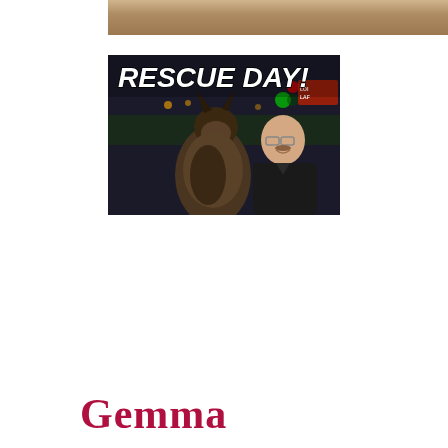[Figure (photo): Partial top photo cropped at top of page]
[Figure (photo): Night-time photo inside a car showing a man wearing glasses smiling, with a large German Shepherd dog in the front seat. Text overlay at top reads 'RESCUE DAY!' in bold white comic-style letters.]
Gemma